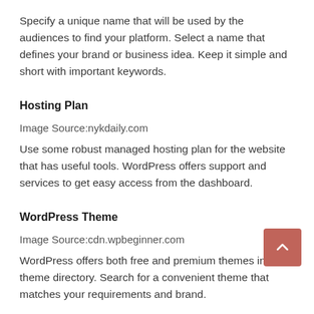Specify a unique name that will be used by the audiences to find your platform. Select a name that defines your brand or business idea. Keep it simple and short with important keywords.
Hosting Plan
Image Source:nykdaily.com
Use some robust managed hosting plan for the website that has useful tools. WordPress offers support and services to get easy access from the dashboard.
WordPress Theme
Image Source:cdn.wpbeginner.com
WordPress offers both free and premium themes in the theme directory. Search for a convenient theme that matches your requirements and brand.
Add your Podcast episode
WordPress developers can easily add the media file on